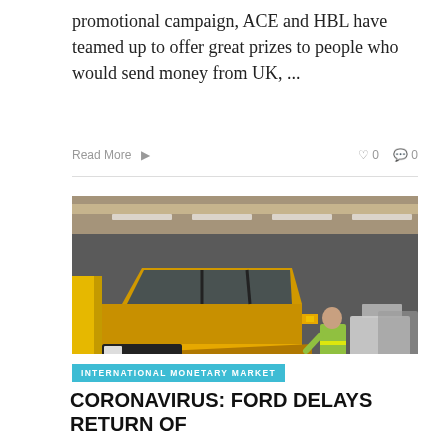promotional campaign, ACE and HBL have teamed up to offer great prizes to people who would send money from UK, ...
Read More  0  0
[Figure (photo): A yellow Ford Bronco SUV on an assembly line in a manufacturing plant. A worker in a high-visibility vest stands next to the vehicle. Other vehicles can be seen in the background on the production line.]
INTERNATIONAL MONETARY MARKET
CORONAVIRUS: FORD DELAYS RETURN OF